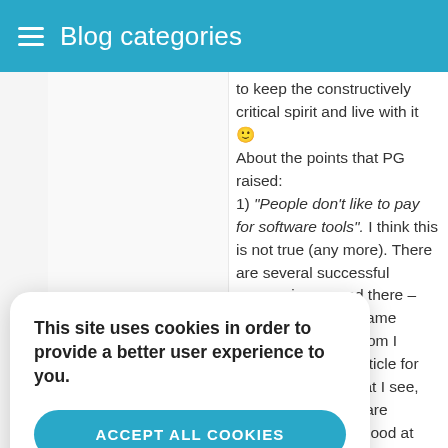Blog categories
to keep the constructively critical spirit and live with it 🙂
About the points that PG raised:
1) "People don't like to pay for software tools". I think this is not true (any more). There are several successful companies around there – take a look at the same Zeroturnaround whom I mentioned in the article for example. From what I see, people in the software business are very good at feeling/sensing the cost developer hour. If they face a problem and they cannot [...] take to solve it, they feel [...] ixed-cost solution, they [...] ng it. We have seen it [...] vell already.
[...] is running on production [...] ke a long time for [...] for that, and that will in [...] rowth." Definitely true, [...] ll not grow as fast as for [...] companies. On the other hand, we justify this with a larger income per
This site uses cookies in order to provide a better user experience to you.
ACCEPT ALL COOKIES
COOKIE SETTINGS